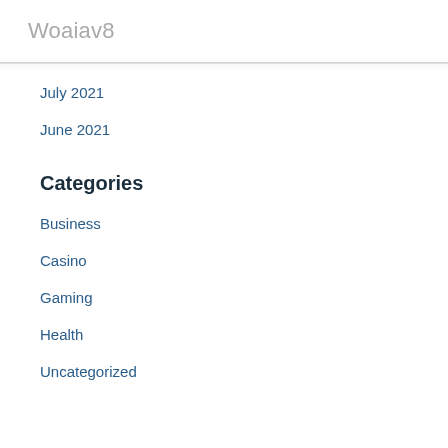Woaiav8
July 2021
June 2021
Categories
Business
Casino
Gaming
Health
Uncategorized